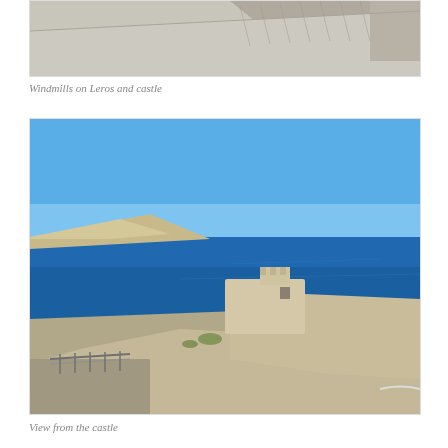[Figure (photo): Top portion of a photo showing windmills on Leros and castle — stone wall or walkway with light-colored surface visible, cropped at top]
Windmills on Leros and castle
[Figure (photo): A castle or fortress on a rocky cliff overlooking a deep blue sea, with a distant island peninsula visible on the horizon under a clear blue sky. Stone walls and a metal railing/staircase are visible in the foreground.]
View from the castle